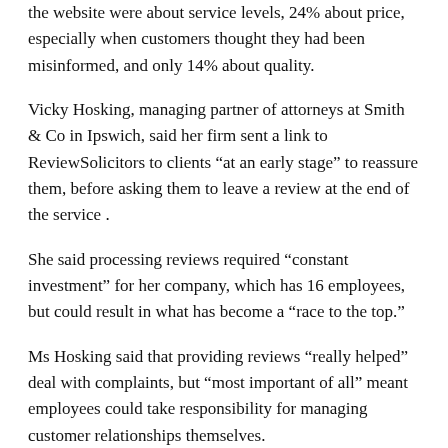the website were about service levels, 24% about price, especially when customers thought they had been misinformed, and only 14% about quality.
Vicky Hosking, managing partner of attorneys at Smith & Co in Ipswich, said her firm sent a link to ReviewSolicitors to clients “at an early stage” to reassure them, before asking them to leave a review at the end of the service .
She said processing reviews required “constant investment” for her company, which has 16 employees, but could result in what has become a “race to the top.”
Ms Hosking said that providing reviews “really helped” deal with complaints, but “most important of all” meant employees could take responsibility for managing customer relationships themselves.
“The process becomes ingrained in your culture. There are so